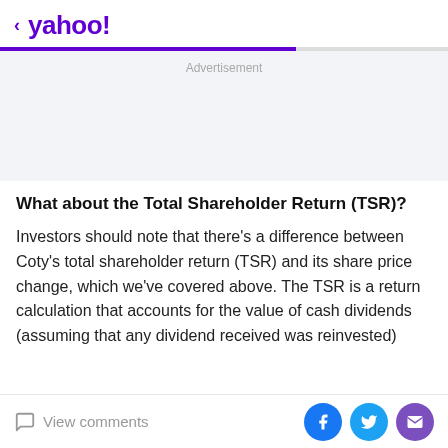< yahoo!
[Figure (other): Advertisement placeholder area with light gray background]
What about the Total Shareholder Return (TSR)?
Investors should note that there's a difference between Coty's total shareholder return (TSR) and its share price change, which we've covered above. The TSR is a return calculation that accounts for the value of cash dividends (assuming that any dividend received was reinvested)
View comments